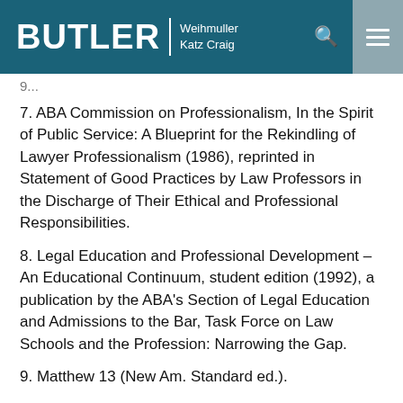BUTLER Weihmuller Katz Craig
9. [partial text from previous page]
7. ABA Commission on Professionalism, In the Spirit of Public Service: A Blueprint for the Rekindling of Lawyer Professionalism (1986), reprinted in Statement of Good Practices by Law Professors in the Discharge of Their Ethical and Professional Responsibilities.
8. Legal Education and Professional Development – An Educational Continuum, student edition (1992), a publication by the ABA's Section of Legal Education and Admissions to the Bar, Task Force on Law Schools and the Profession: Narrowing the Gap.
9. Matthew 13 (New Am. Standard ed.).